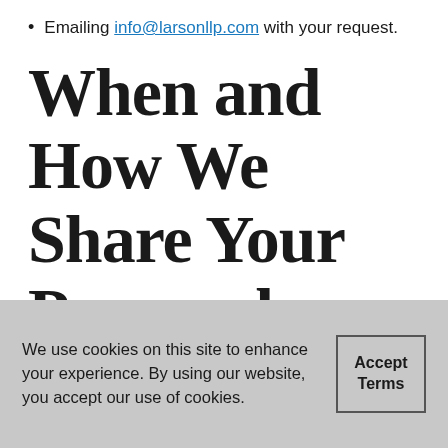Emailing info@larsonllp.com with your request.
When and How We Share Your Personal Information
We use cookies on this site to enhance your experience. By using our website, you accept our use of cookies.